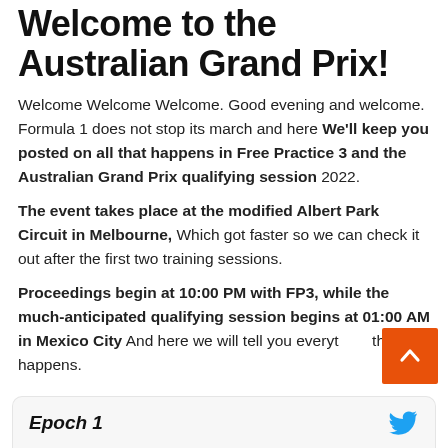Welcome to the Australian Grand Prix!
Welcome Welcome Welcome. Good evening and welcome. Formula 1 does not stop its march and here We'll keep you posted on all that happens in Free Practice 3 and the Australian Grand Prix qualifying session 2022.
The event takes place at the modified Albert Park Circuit in Melbourne, Which got faster so we can check it out after the first two training sessions.
Proceedings begin at 10:00 PM with FP3, while the much-anticipated qualifying session begins at 01:00 AM in Mexico City And here we will tell you everything that happens.